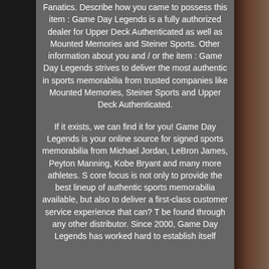Fanatics. Describe how you came to possess this item : Game Day Legends is a fully authorized dealer for Upper Deck Authenticated as well as Mounted Memories and Steiner Sports. Other information about you and / or the item : Game Day Legends strives to deliver the most authentic in sports memorabilia from trusted companies like Mounted Memories, Steiner Sports and Upper Deck Authenticated.
If it exists, we can find it for you! Game Day Legends is your online source for signed sports memorabilia from Michael Jordan, LeBron James, Peyton Manning, Kobe Bryant and many more athletes. S core focus is not only to provide the best lineup of authentic sports memorabilia available, but also to deliver a first-class customer service experience that can? T be found through any other distributor. Since 2000, Game Day Legends has worked hard to establish itself